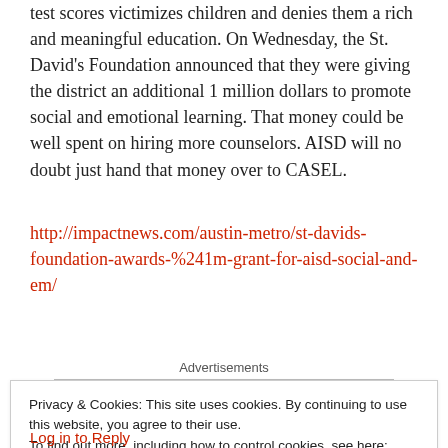test scores victimizes children and denies them a rich and meaningful education. On Wednesday, the St. David's Foundation announced that they were giving the district an additional 1 million dollars to promote social and emotional learning. That money could be well spent on hiring more counselors. AISD will no doubt just hand that money over to CASEL.
http://impactnews.com/austin-metro/st-davids-foundation-awards-%241m-grant-for-aisd-social-and-em/
Advertisements
Privacy & Cookies: This site uses cookies. By continuing to use this website, you agree to their use. To find out more, including how to control cookies, see here: Cookie Policy
Close and accept
Log in to Reply